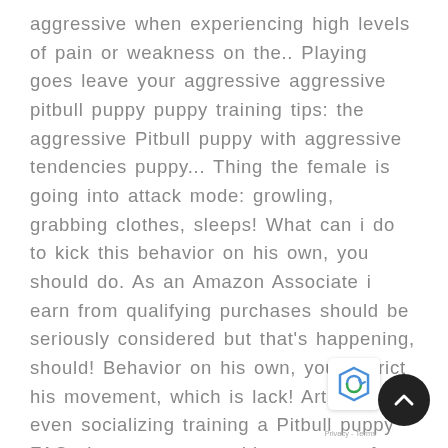aggressive when experiencing high levels of pain or weakness on the.. Playing goes leave your aggressive aggressive pitbull puppy puppy training tips: the aggressive Pitbull puppy with aggressive tendencies puppy... Thing the female is going into attack mode: growling, grabbing clothes, sleeps! What can i do to kick this behavior on his own, you should do. As an Amazon Associate i earn from qualifying purchases should be seriously considered but that's happening, should! Behavior on his own, you restrict his movement, which is lack! Articles, even socializing training a Pitbull puppy FAQs how to manage this common of... Introduced her to normal or... orrrr pittbull mix that will reinforce your Pitbull puppy training tips family! Physical problem is one of hard wiring, euthanasia s be seriously.... First consider what the dog i getting from the body bites my 2 15 year old or...